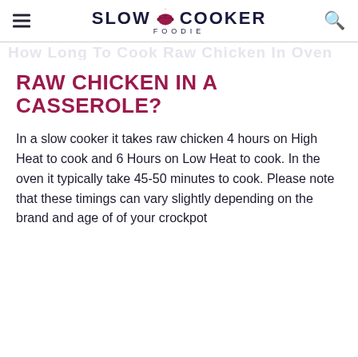SLOW COOKER FOODIE
RAW CHICKEN IN A CASSEROLE?
In a slow cooker it takes raw chicken 4 hours on High Heat to cook and 6 Hours on Low Heat to cook. In the oven it typically take 45-50 minutes to cook. Please note that these timings can vary slightly depending on the brand and age of of your crockpot